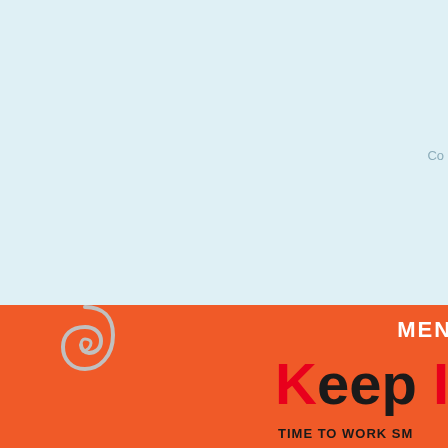[Figure (illustration): Light blue background panel covering the upper portion of the page, with partially visible grey text 'Co' at the right edge around mid-height.]
Co
[Figure (illustration): Orange rectangular panel in the lower-left area with a paperclip illustration on the left side and bold white text 'MENU' on the right.]
Keep It
TIME TO WORK SM